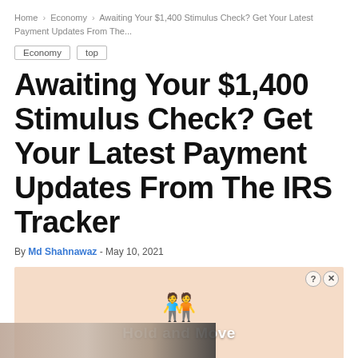Home > Economy > Awaiting Your $1,400 Stimulus Check? Get Your Latest Payment Updates From The...
Economy
top
Awaiting Your $1,400 Stimulus Check? Get Your Latest Payment Updates From The IRS Tracker
By Md Shahnawaz - May 10, 2021
[Figure (other): Advertisement banner showing 'Hold and Move' app with cartoon figures on a wooden background. Below: Quality Fireplaces at LT Rush with Open button.]